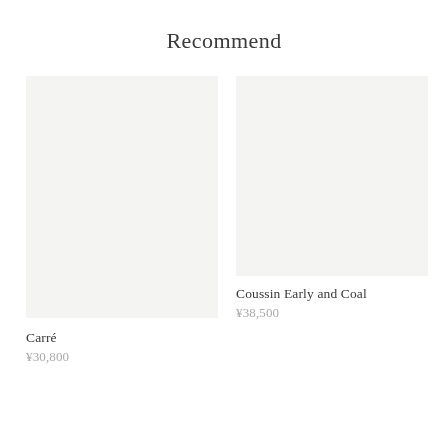Recommend
[Figure (photo): Product image placeholder for Carré, light gray background]
[Figure (photo): Product image placeholder for Coussin Early and Coal, light gray background]
Coussin Early and Coal
¥38,500
Carré
¥30,800